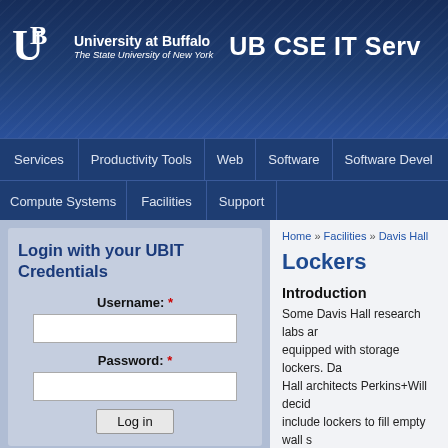University at Buffalo The State University of New York | UB CSE IT Serv
Services | Productivity Tools | Web | Software | Software Devel
Compute Systems | Facilities | Support
Login with your UBIT Credentials
Username: *
Password: *
Recent Edits
12 years, 33
Home » Facilities » Davis Hall
Lockers
Introduction
Some Davis Hall research labs ar equipped with storage lockers. Da Hall architects Perkins+Will decid include lockers to fill empty wall s between structural columns.
How to Unlock a Häfele MasterCombi Combinatio